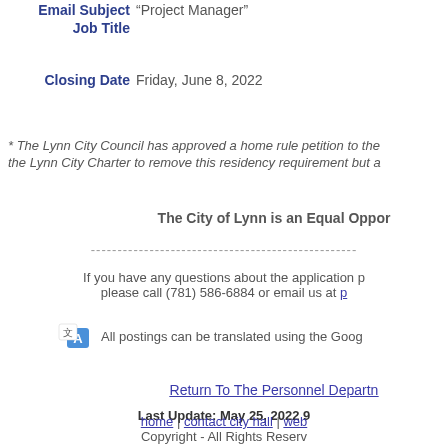Email Subject  "Project Manager"
Job Title
Closing Date  Friday, June 8, 2022
* The Lynn City Council has approved a home rule petition to the the Lynn City Charter to remove this residency requirement but a
The City of Lynn is an Equal Oppor
--------------------------------------------------------------------------------
If you have any questions about the application p please call (781) 586-6884 or email us at p
All postings can be translated using the Goog
Return To The Personnel Departn
Last Update: May 25, 2022 9
home | contact city hall | web
Copyright - All Rights Reserv